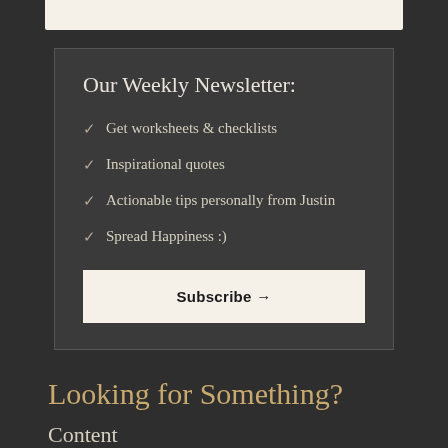Our Weekly Newsletter:
✓ Get worksheets & checklists
✓ Inspirational quotes
✓ Actionable tips personally from Justin
✓ Spread Happiness :)
Subscribe →
Looking for Something?
Content